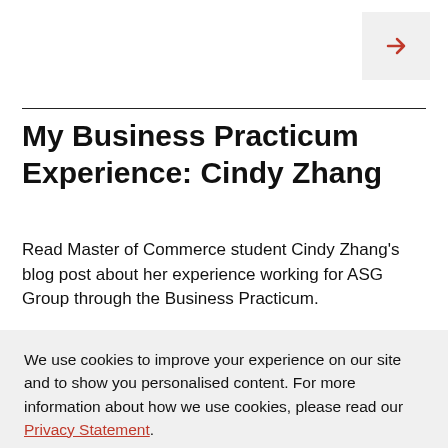[Figure (other): Navigation arrow button pointing right, on a light grey square background, top-right corner]
My Business Practicum Experience: Cindy Zhang
Read Master of Commerce student Cindy Zhang's blog post about her experience working for ASG Group through the Business Practicum.
We use cookies to improve your experience on our site and to show you personalised content. For more information about how we use cookies, please read our Privacy Statement.
[Figure (other): OK button with red background and white text, bordered box]